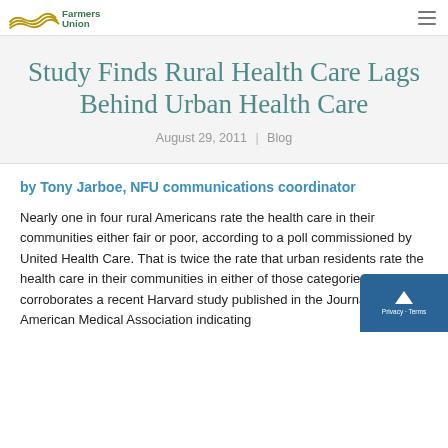Farmers Union
Study Finds Rural Health Care Lags Behind Urban Health Care
August 29, 2011 | Blog
by Tony Jarboe, NFU communications coordinator
Nearly one in four rural Americans rate the health care in their communities either fair or poor, according to a poll commissioned by United Health Care. That is twice the rate that urban residents rate the health care in their communities in either of those categories. This poll corroborates a recent Harvard study published in the Journal of the American Medical Association indicating